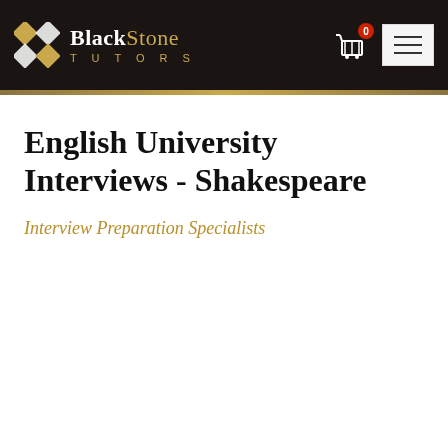BlackStone Tutors — Interview Preparation Specialists
English University Interviews - Shakespeare
Interview Preparation Specialists